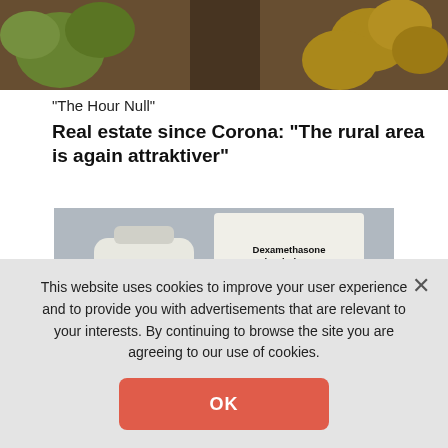[Figure (photo): Aerial view of landscape with trees and a river or road, partially visible at top of page]
"The Hour Null"
Real estate since Corona: "The rural area is again attraktiver"
[Figure (photo): Photo of Dexamethasone Oral Solution USP Intensol (Concentrate) 1 mg per mL medication bottle and box, with a person in background]
This website uses cookies to improve your user experience and to provide you with advertisements that are relevant to your interests. By continuing to browse the site you are agreeing to our use of cookies.